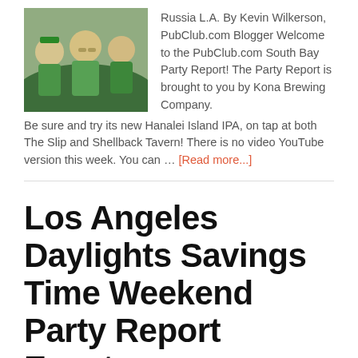[Figure (photo): Group of people in green outfits at a party, taking a selfie]
Russia L.A. By Kevin Wilkerson, PubClub.com Blogger Welcome to the PubClub.com South Bay Party Report! The Party Report is brought to you by Kona Brewing Company. Be sure and try its new Hanalei Island IPA, on tap at both The Slip and Shellback Tavern! There is no video YouTube version this week. You can … [Read more...]
Los Angeles Daylights Savings Time Weekend Party Report Events